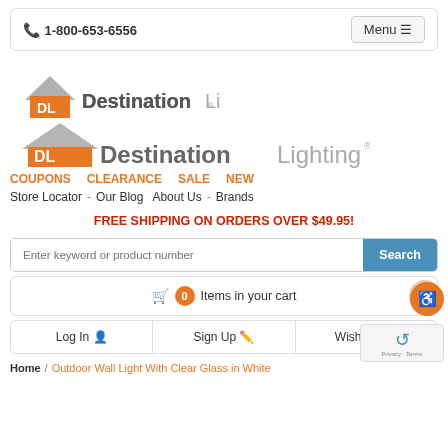1-800-653-6556  Menu
[Figure (logo): Destination Lighting logo with orange house/DL icon and gray text]
COUPONS  CLEARANCE  SALE  NEW
Store Locator  -  Our Blog  About Us  -  Brands
FREE SHIPPING ON ORDERS OVER $49.95!
Enter keyword or product number  Search
0 Items in your cart
Log In  Sign Up  Wish List
Home / Outdoor Wall Light With Clear Glass in White